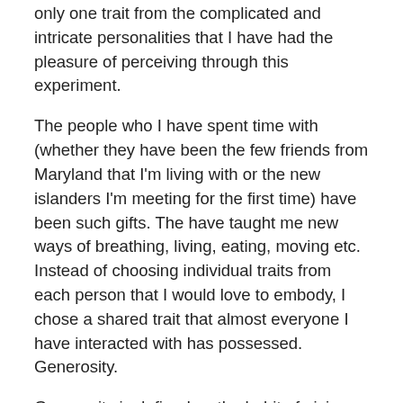only one trait from the complicated and intricate personalities that I have had the pleasure of perceiving through this experiment.
The people who I have spent time with (whether they have been the few friends from Maryland that I'm living with or the new islanders I'm meeting for the first time) have been such gifts. The have taught me new ways of breathing, living, eating, moving etc.  Instead of choosing individual traits from each person that I would love to embody, I chose a shared trait that almost everyone I have interacted with has possessed. Generosity.
Generosity is defined as the habit of giving without expecting anything in return. It can involve offering time, assets or talents to another in need. Everyone I have spent time with here has possessed this trait in some